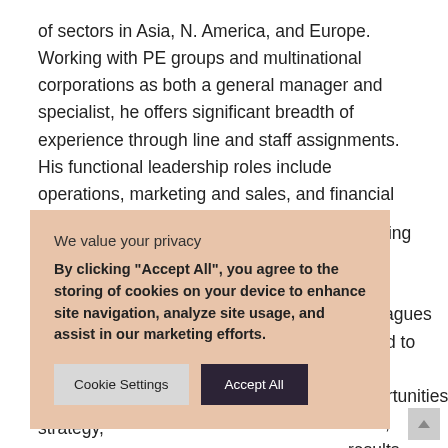of sectors in Asia, N. America, and Europe. Working with PE groups and multinational corporations as both a general manager and specialist, he offers significant breadth of experience through line and staff assignments. His functional leadership roles include operations, marketing and sales, and financial advice in deal structuring, LBO
borating with &A colleagues tained to both opportunities. ative, results- uccesses in
[Figure (other): Cookie consent overlay with title 'We value your privacy', body text 'By clicking "Accept All", you agree to the storing of cookies on your device to enhance site navigation, analyze site usage, and assist in our marketing efforts.', and two buttons: 'Cookie Settings' and 'Accept All'.]
automated manufacturing, Go-To-Market strategy,